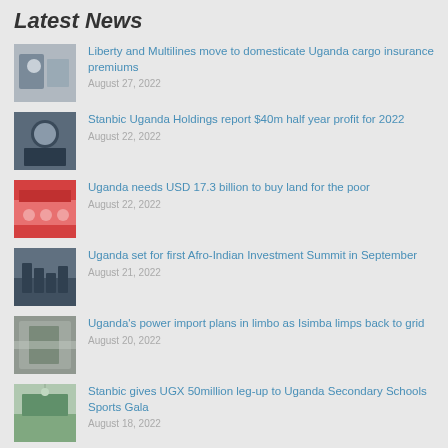Latest News
Liberty and Multilines move to domesticate Uganda cargo insurance premiums
August 27, 2022
Stanbic Uganda Holdings report $40m half year profit for 2022
August 22, 2022
Uganda needs USD 17.3 billion to buy land for the poor
August 22, 2022
Uganda set for first Afro-Indian Investment Summit in September
August 21, 2022
Uganda's power import plans in limbo as Isimba limps back to grid
August 20, 2022
Stanbic gives UGX 50million leg-up to Uganda Secondary Schools Sports Gala
August 18, 2022